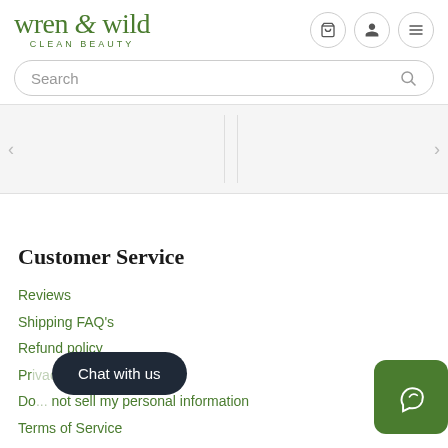wren & wild CLEAN BEAUTY
[Figure (screenshot): Search bar with rounded border and search icon]
[Figure (illustration): Carousel section with left and right arrows and vertical divider lines on light gray background]
Customer Service
Reviews
Shipping FAQ's
Refund policy
Privacy
Do not sell my personal information
Terms of Service
Contact US
[Figure (screenshot): Chat with us dark pill-shaped button overlay]
[Figure (logo): Green rounded square button with wren & wild leaf/cursive icon]